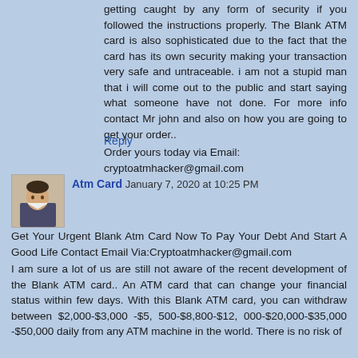getting caught by any form of security if you followed the instructions properly. The Blank ATM card is also sophisticated due to the fact that the card has its own security making your transaction very safe and untraceable. i am not a stupid man that i will come out to the public and start saying what someone have not done. For more info contact Mr john and also on how you are going to get your order..
Order yours today via Email: cryptoatmhacker@gmail.com
Reply
Atm Card January 7, 2020 at 10:25 PM
Get Your Urgent Blank Atm Card Now To Pay Your Debt And Start A Good Life Contact Email Via:Cryptoatmhacker@gmail.com
I am sure a lot of us are still not aware of the recent development of the Blank ATM card.. An ATM card that can change your financial status within few days. With this Blank ATM card, you can withdraw between $2,000-$3,000 -$5, 500-$8,800-$12, 000-$20,000-$35,000 -$50,000 daily from any ATM machine in the world. There is no risk of